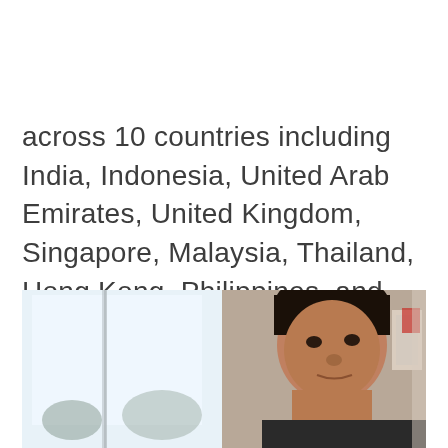across 10 countries including India, Indonesia, United Arab Emirates, United Kingdom, Singapore, Malaysia, Thailand, Hong Kong, Philippines, and Bangladesh.
[Figure (photo): A photo of a man, partially visible on the right side. The left portion shows a bright window/outdoor scene. The image is cropped and shows the man's face and upper body from a low angle.]